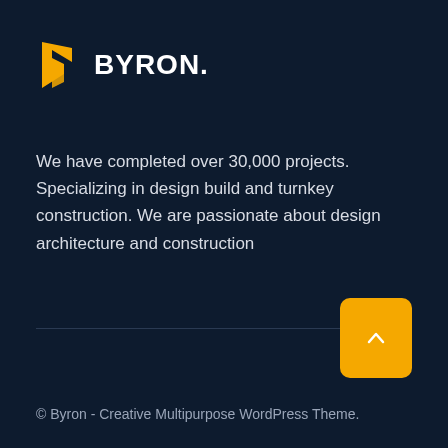[Figure (logo): Byron brand logo: gold angular 'b' icon and bold white BYRON. wordmark]
We have completed over 30,000 projects. Specializing in design build and turnkey construction. We are passionate about design architecture and construction
[Figure (other): Gold/amber rounded-rectangle scroll-to-top button with upward caret chevron]
© Byron - Creative Multipurpose WordPress Theme.